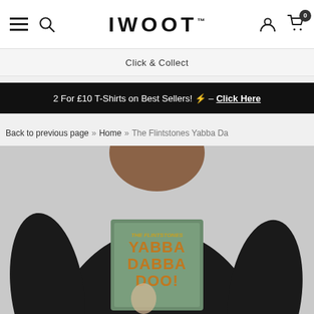IWOOT™ — navigation bar with hamburger menu, search, logo, user icon, and cart (0)
Click & Collect
2 For £10 T-Shirts on Best Sellers! ⚡ – Click Here
Back to previous page » Home » The Flintstones Yabba Da…
[Figure (photo): Man wearing a black t-shirt with The Flintstones 'Yabba Dabba Doo!' graphic print, shown from chest to chin, on a grey background.]